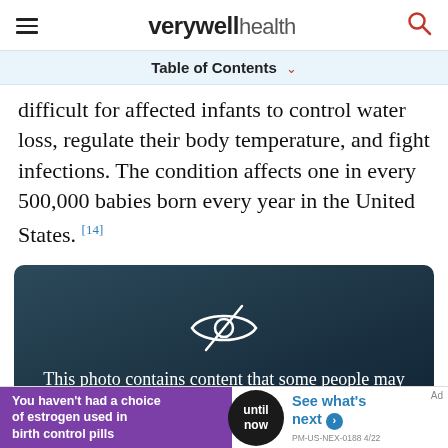verywell health
Table of Contents
difficult for affected infants to control water loss, regulate their body temperature, and fight infections. The condition affects one in every 500,000 babies born every year in the United States. [14]
[Figure (photo): Dark teal/blue blurred background with a crossed-out eye icon in white, overlaid with text: 'This photo contains content that some people may find graphic or disturbing.']
You haven't had a choice of estrogen used in birth control pills | until now | See what's next | PM-US-NEX-0188 4/22